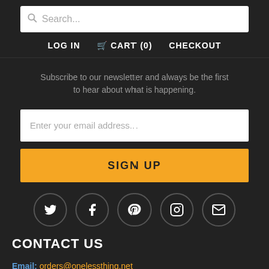Search...
LOG IN  CART (0)  CHECKOUT
Subscribe to our newsletter and always be the first to hear about what is happening.
Enter your email address...
SIGN UP
[Figure (infographic): Five social media icon circles: Twitter, Facebook, Pinterest, Instagram, Email]
CONTACT US
Email: orders@onelessthing.net
(Note: We no longer take orders by fax. Please email all purchase orders.)